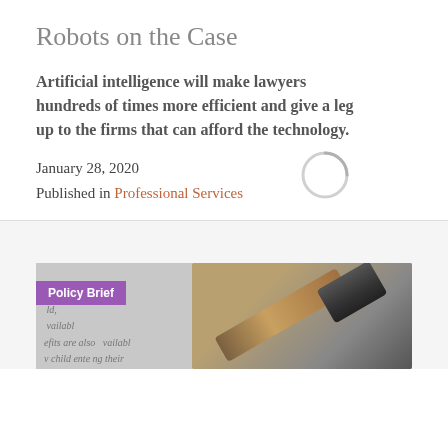Robots on the Case
Artificial intelligence will make lawyers hundreds of times more efficient and give a leg up to the firms that can afford the technology.
January 28, 2020
Published in Professional Services
[Figure (photo): A policy brief document with a gavel in the background, showing text about child benefits. A purple 'Policy Brief' badge is overlaid on the left side of the image.]